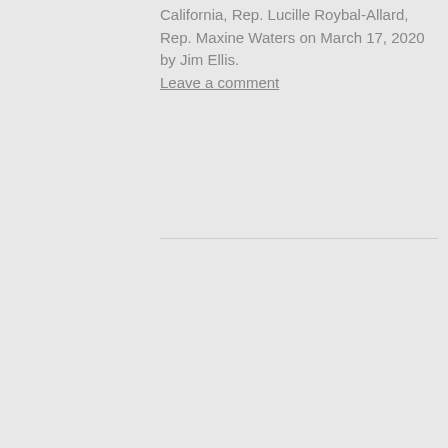California, Rep. Lucille Roybal-Allard, Rep. Maxine Waters on March 17, 2020 by Jim Ellis. Leave a comment
ELLIS ON THE AIR
[Figure (other): Red LISTEN button with play triangle icon]
Listen in to my weekly podcasts here:  BIPAC's Podcasts. I provide ongoing political analyses for the Business-Industry Political Action Committee (BIPAC), which is an independent